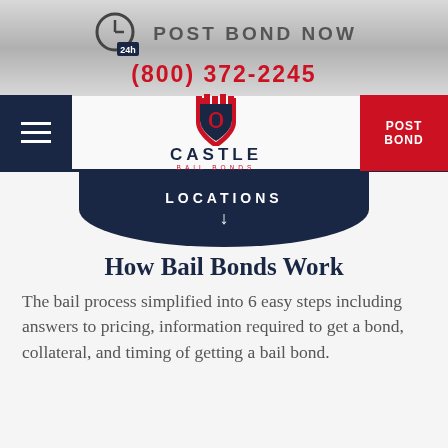POST BOND NOW (800) 372-2245
[Figure (logo): Castle Bail Bonds logo with castle shield icon in navy and red]
LOCATIONS ↓
How Bail Bonds Work
The bail process simplified into 6 easy steps including answers to pricing, information required to get a bond, collateral, and timing of getting a bail bond.